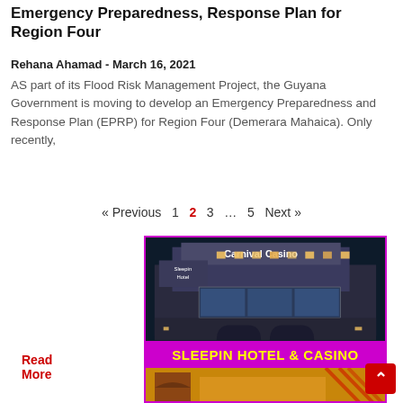Emergency Preparedness, Response Plan for Region Four
Rehana Ahamad - March 16, 2021
AS part of its Flood Risk Management Project, the Guyana Government is moving to develop an Emergency Preparedness and Response Plan (EPRP) for Region Four (Demerara Mahaica). Only recently,
Read More
« Previous  1  2  3  …  5  Next »
[Figure (photo): Nighttime exterior photo of Sleepin Hotel building with Carnival Casino signage on top, illuminated with warm lights. Below is a magenta banner reading SLEEPIN HOTEL & CASINO in yellow text, and a partial view of the hotel entrance at bottom.]